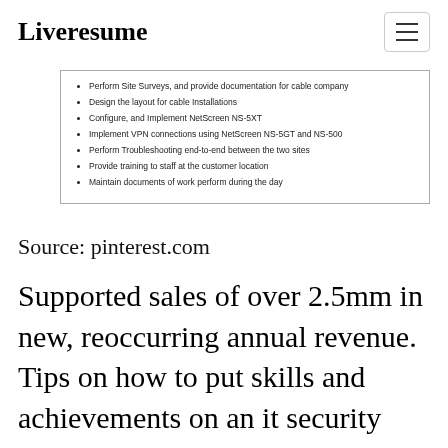Liveresume
[Figure (screenshot): Screenshot of a resume bullet list showing IT/network job duties]
Source: pinterest.com
Supported sales of over 2.5mm in new, reoccurring annual revenue. Tips on how to put skills and achievements on an it security resume. This cyber security